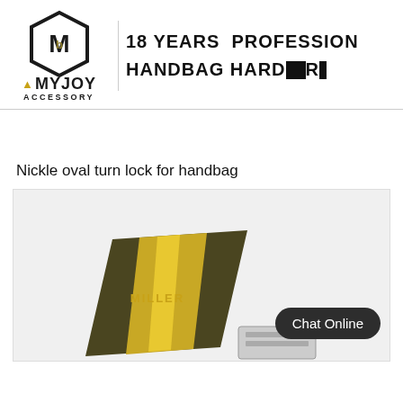[Figure (logo): MYJOY ACCESSORY logo with hexagon emblem and gold triangle]
18 YEARS  PROFESSIO...
HANDBAG HARD...R...
Nickle oval turn lock for handbag
[Figure (photo): Gold/dark metallic handbag turn lock hardware labeled MILLER, with Chat Online button overlay]